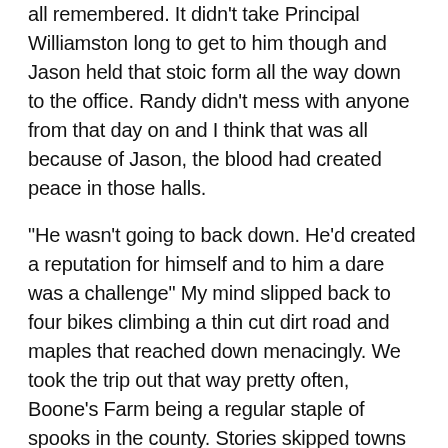all remembered. It didn't take Principal Williamston long to get to him though and Jason held that stoic form all the way down to the office. Randy didn't mess with anyone from that day on and I think that was all because of Jason, the blood had created peace in those halls.
“He wasn’t going to back down. He’d created a reputation for himself and to him a dare was a challenge” My mind slipped back to four bikes climbing a thin cut dirt road and maples that reached down menacingly. We took the trip out that way pretty often, Boone’s Farm being a regular staple of spooks in the county. Stories skipped towns like a flat stone skittering across a lake painted like a pane of glass and all the kids knew them. The stories were one thing, but Brett lived pretty close and we made it a regular occurrence to bring our bikes to his house and then make our way out on that dirt road to see those building peek out on the horizon: that big haybarn wearing its grey weathered wood in vertical